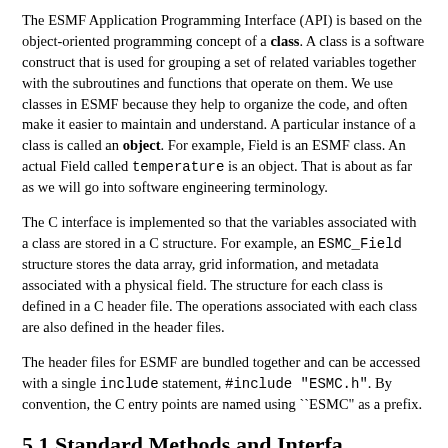The ESMF Application Programming Interface (API) is based on the object-oriented programming concept of a class. A class is a software construct that is used for grouping a set of related variables together with the subroutines and functions that operate on them. We use classes in ESMF because they help to organize the code, and often make it easier to maintain and understand. A particular instance of a class is called an object. For example, Field is an ESMF class. An actual Field called temperature is an object. That is about as far as we will go into software engineering terminology.
The C interface is implemented so that the variables associated with a class are stored in a C structure. For example, an ESMC_Field structure stores the data array, grid information, and metadata associated with a physical field. The structure for each class is defined in a C header file. The operations associated with each class are also defined in the header files.
The header files for ESMF are bundled together and can be accessed with a single include statement, #include "ESMC.h". By convention, the C entry points are named using ``ESMC" as a prefix.
5.1 Standard Methods and Interfa...